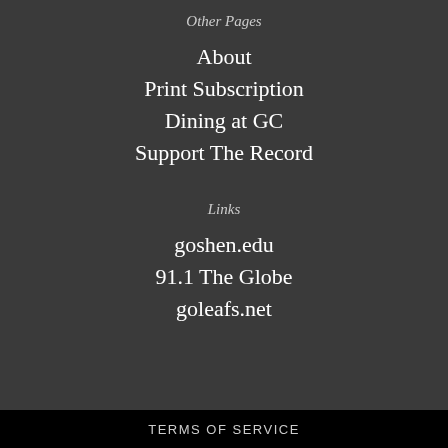Other Pages
About
Print Subscription
Dining at GC
Support The Record
Links
goshen.edu
91.1 The Globe
goleafs.net
TERMS OF SERVICE